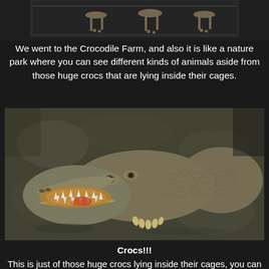[Figure (photo): Top photo showing display cases with skeletal/bone specimens against dark background]
We went to the Crocodile Farm, and also it is like a nature park where you can see different kinds of animals aside from those huge crocs that are lying inside their cages.
[Figure (photo): Close-up photograph of a crocodile with its mouth open, lying on a wet stone surface, showing teeth and scaly skin]
Crocs!!!
This is just of those huge crocs lying inside their cages, you can also see a 17feet croc lying since he already has arthritis so what the tour guide mentioned